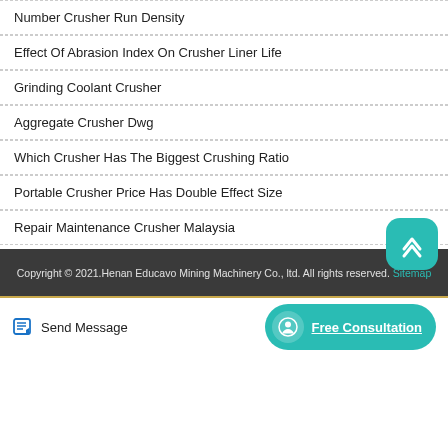Number Crusher Run Density
Effect Of Abrasion Index On Crusher Liner Life
Grinding Coolant Crusher
Aggregate Crusher Dwg
Which Crusher Has The Biggest Crushing Ratio
Portable Crusher Price Has Double Effect Size
Repair Maintenance Crusher Malaysia
Copyright © 2021.Henan Educavo Mining Machinery Co., ltd. All rights reserved. Sitemap
Send Message
Free Consultation